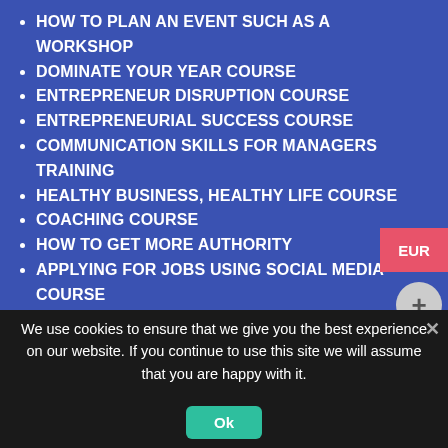HOW TO PLAN AN EVENT SUCH AS A WORKSHOP
DOMINATE YOUR YEAR COURSE
ENTREPRENEUR DISRUPTION COURSE
ENTREPRENEURIAL SUCCESS COURSE
COMMUNICATION SKILLS FOR MANAGERS TRAINING
HEALTHY BUSINESS, HEALTHY LIFE COURSE
COACHING COURSE
HOW TO GET MORE AUTHORITY
APPLYING FOR JOBS USING SOCIAL MEDIA COURSE
IRRESISTIBLE YOU
ORGANIZED MIND
SCALING BACK
BULLETPROOF MIND
GENERAL DATA PROTECTION REGULATION (GDPR) BASIC TRAINING
We use cookies to ensure that we give you the best experience on our website. If you continue to use this site we will assume that you are happy with it.